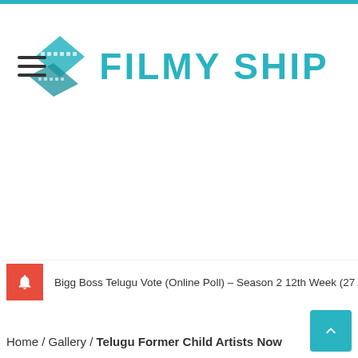[Figure (logo): Filmy Ship logo with teal diamond/film strip icon and bold teal text reading FILMY SHIP]
Bigg Boss Telugu Vote (Online Poll) – Season 2 12th Week (27 Aug – 31 Aug)
Home / Gallery / Telugu Former Child Artists Now